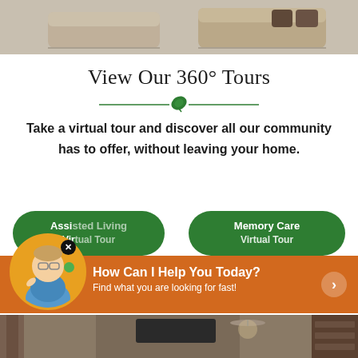[Figure (photo): Top portion of a living room with beige sofas with dark pillows, carpet floor, partial view]
View Our 360° Tours
[Figure (illustration): Decorative green divider line with leaf icon in the center]
Take a virtual tour and discover all our community has to offer, without leaving your home.
[Figure (infographic): Two green rounded pill-shaped buttons: 'Assisted Living Virtual Tour' and 'Memory Care Virtual Tour', overlaid by a chat widget with a female avatar and text 'How Can I Help You Today? Find what you are looking for fast!' with an arrow button]
[Figure (photo): Bottom portion of interior common room with stone fireplace, TV, ceiling fan, wooden cabinetry, warm lighting]